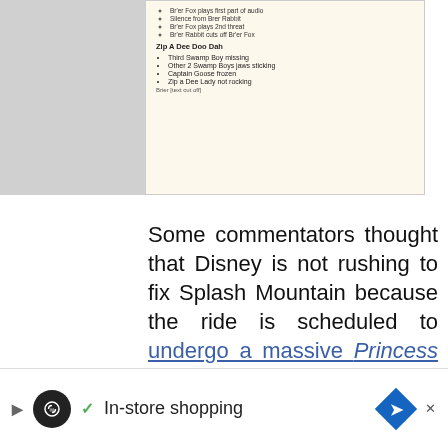[Figure (screenshot): Partial screenshot of a document listing Splash Mountain audio/animatronic issues including 'Zip A Dee Doo Dah' section with bullet points: Third Swamp Boy missing, Other 2 Swamp Boys jaws sticking, Captain Goose frozen, Zip a Dee Lady not rocking. Also shows sub-bullets: Br'er Fox plays first part of audio, Silence from Brer Rabbit, Br'er Fox plays 2nd threat, Br'er Rabbit cuts off Br'er Fox.]
Some commentators thought that Disney is not rushing to fix Splash Mountain because the ride is scheduled to undergo a massive Princess and the Frog retheme. Disney announced the retheme — which will happen at both Walt Disney World and Disneyland Resort — back in 2020. However, they have not shared when the retheme will begin or when they plan to have the
[Figure (other): Advertisement bar: play button icon, circular logo with infinity symbol on black background, green checkmark, text 'In-store shopping', blue diamond with navigation arrow icon, X close button]